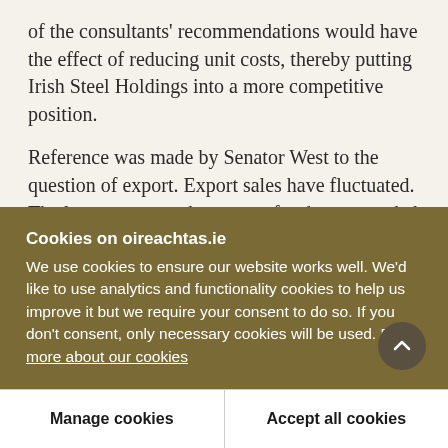of the consultants' recommendations would have the effect of reducing unit costs, thereby putting Irish Steel Holdings into a more competitive position.
Reference was made by Senator West to the question of export. Export sales have fluctuated. The latest report and accounts for the year ended 30th June, 1970, indicate that the export sales for 1969-70 were £691,000 as against £656,000 for 1968-69. As against that again, the export sales during 1965-66 were £942,000. This, on the overall, would show that
Cookies on oireachtas.ie
We use cookies to ensure our website works well. We'd like to use analytics and functionality cookies to help us improve it but we require your consent to do so. If you don't consent, only necessary cookies will be used. Read more about our cookies
Manage cookies
Accept all cookies